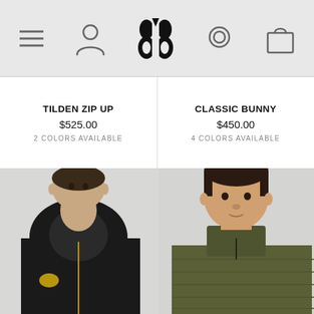[Figure (screenshot): Mobile app navigation bar with hamburger menu, user profile icon, Moose Knuckles logo (stylized goose/bunny silhouette), search icon, and bag/cart icon on light grey background]
TILDEN ZIP UP
$525.00
2 COLORS AVAILABLE
CLASSIC BUNNY
$450.00
4 COLORS AVAILABLE
[Figure (photo): Male model wearing a black zip-up hoodie with gold zipper and Moose Knuckles logo patch on the sleeve, against a light grey background]
[Figure (photo): Male model wearing an olive/army green quilted jacket with high collar, against a light grey background]